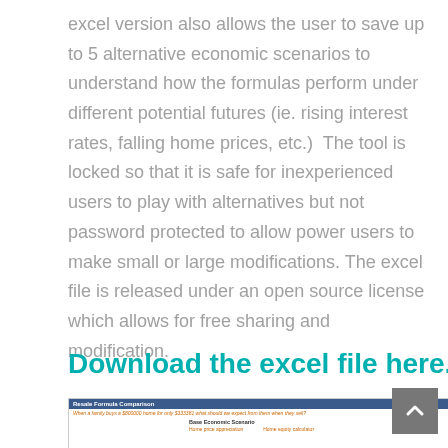excel version also allows the user to save up to 5 alternative economic scenarios to understand how the formulas perform under different potential futures (ie. rising interest rates, falling home prices, etc.)  The tool is locked so that it is safe for inexperienced users to play with alternatives but not password protected to allow power users to make small or large modifications. The excel file is released under an open source license which allows for free sharing and modification.
Download the excel file here.
[Figure (screenshot): Screenshot of a spreadsheet titled 'Resale Formula Comparison' with subtitle 'When a family buys a $800000 home for only $333381 what should we expect from them when they sell?' and a Base Economic Scenario section.]